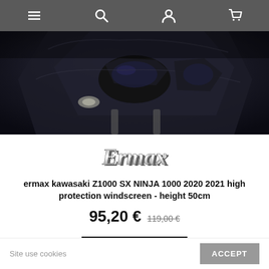Navigation bar with menu, search, account, and cart icons
[Figure (photo): Close-up photo of a dark-colored Kawasaki motorcycle front fairing and headlight area]
[Figure (logo): Ermax brand logo in cursive style]
ermax kawasaki Z1000 SX NINJA 1000 2020 2021 high protection windscreen - height 50cm
95,20 € 119,00 €
Add to cart
Site use cookies  ACCEPT